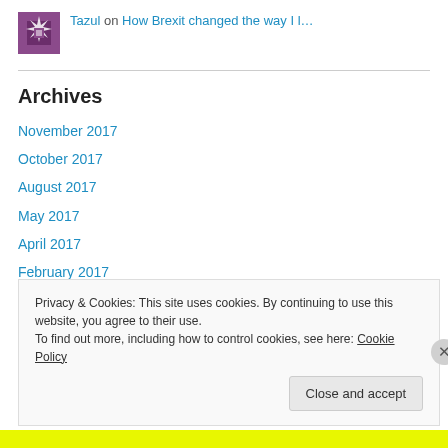[Figure (logo): Purple geometric/quilt-style avatar icon]
Tazul on How Brexit changed the way I l…
Archives
November 2017
October 2017
August 2017
May 2017
April 2017
February 2017
January 2017
Privacy & Cookies: This site uses cookies. By continuing to use this website, you agree to their use.
To find out more, including how to control cookies, see here: Cookie Policy
Close and accept